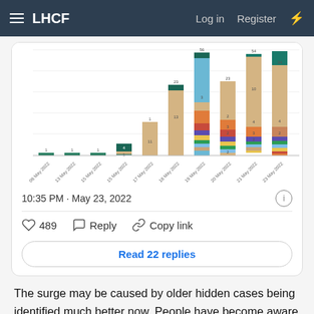LHCF  Log in  Register
[Figure (stacked-bar-chart): Stacked bar chart showing monkeypox cases by week from 06 May 2022 to 23 May 2022, with multiple colored segments per bar representing different countries/regions. Values on bars include 1,1,1,4,1,11,7,23,3,56,2,3,4,2,4,23,10,4,3,2,54,34,4,2,3. Bars grow progressively taller from left to right.]
10:35 PM · May 23, 2022
489  Reply  Copy link
Read 22 replies
The surge may be caused by older hidden cases being identified much better now. People have become aware of a new disease and its symptoms. If so, the growth rate should soon drop. But we'll see.
Monkeypox also doesn't come from monkeys, it's named after